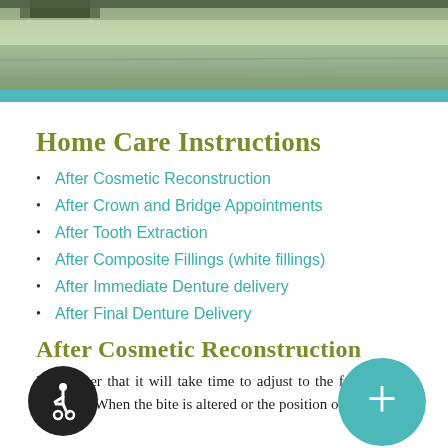[Figure (photo): Nature/water background photo banner in muted greens and grays]
Home Care Instructions
After Cosmetic Reconstruction
After Crown and Bridge Appointments
After Tooth Extraction
After Composite Fillings (white fillings)
After Immediate Denture delivery
After Final Denture Delivery
After Cosmetic Reconstruction
Remember that it will take time to adjust to the feel of your new bite. When the bite is altered or the position of the